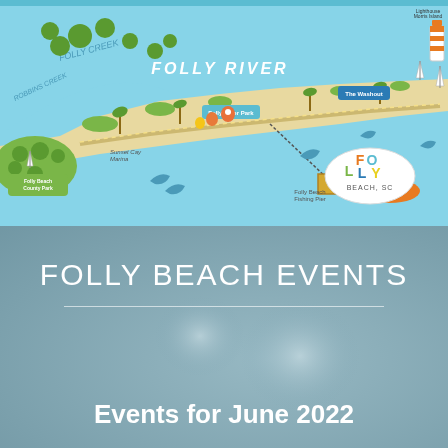[Figure (map): Illustrated map of Folly Beach, SC showing Folly River, Folly River Park, The Washout, Folly Beach County Park, Folly Beach Fishing Pier, Sunset Cay Marina, Morris Island Lighthouse, Folly Beach SC logo, dolphins, boats, sailboats, palm trees, and various landmarks along a narrow coastal island.]
FOLLY BEACH EVENTS
Events for June 2022